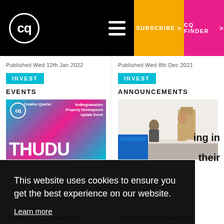CQ — SUBSCRIBE > CQ FINDER >
Published Wed 12th Jan 2022
Published Wed 8th Dec 2021
INVEST
INVEST
EVENTS
ANNOUNCEMENTS
[Figure (photo): CQ Creative Quarter event promotional image for Nottinghamshire Property Development Update Event]
[Figure (photo): Two people in a workshop/industrial setting]
This website uses cookies to ensure you get the best experience on our website. Learn more
Got it!
ing in
their
Published Tue 21st Sept 2021
Published Thu 05th Aug 2021